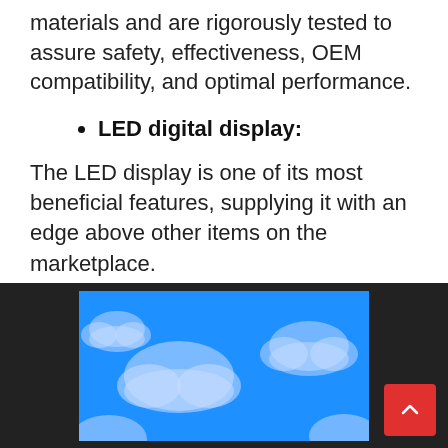materials and are rigorously tested to assure safety, effectiveness, OEM compatibility, and optimal performance.
LED digital display:
The LED display is one of its most beneficial features, supplying it with an edge above other items on the marketplace.
[Figure (illustration): Blue sky background with white cloud shapes, displayed in a dark footer bar. A red scroll-to-top button with an upward chevron is positioned at the bottom right.]